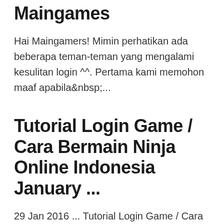Maingames
Hai Maingamers! Mimin perhatikan ada beberapa teman-teman yang mengalami kesulitan login ^^. Pertama kami memohon maaf apabila&nbsp;...
Tutorial Login Game / Cara Bermain Ninja Online Indonesia January ...
29 Jan 2016 ... Tutorial Login Game / Cara Bermain Ninja Online Indonesia ... Kita menyediakan Tutorial Login melalui Website untuk kalian agar mudah bermain Ninja ... Hi Shinobi, Tahukah kalian